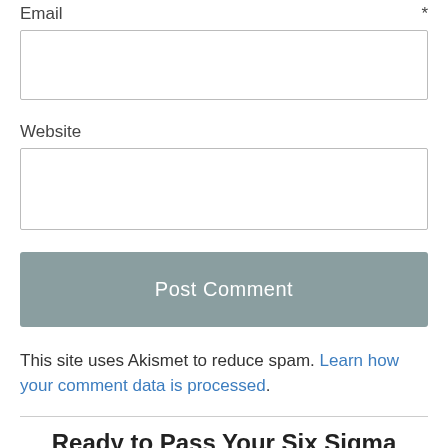Email *
[Figure (other): Email input text box (empty form field)]
Website
[Figure (other): Website input text box (empty form field)]
Post Comment
This site uses Akismet to reduce spam. Learn how your comment data is processed.
Ready to Pass Your Six Sigma Exam?